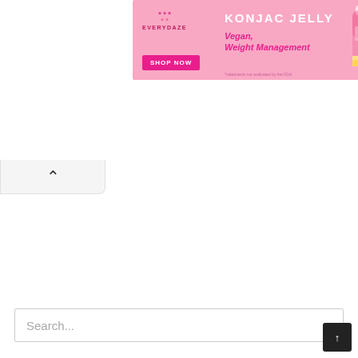[Figure (screenshot): Advertisement banner for Konjac Jelly product by Everydaze. Pink background with 'KONJAC JELLY' headline, 'Vegan, Weight Management' subtext, 'SHOP NOW' button, and a product bottle image. Has close/play ad icons in top right.]
[Figure (screenshot): A collapse/hide tab button with an upward-pointing chevron arrow on a light grey background, positioned below the ad banner on the left side.]
Search...
↑